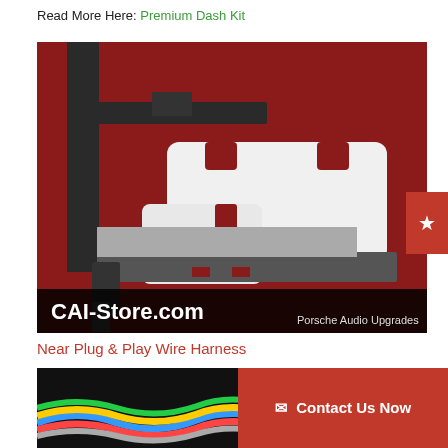Read More Here: Premium Dash Kit
[Figure (photo): Close-up photo of a white 3D-printed plastic bracket or adapter piece mounted in a dark metal frame/bracket against a red background. The bottom of the image has a dark banner reading 'CAI-Store.com' and 'Porsche Audio Upgrades'.]
Near Plug & Play Wire Harness
[Figure (photo): Partial view of colorful wire harness cables at the bottom left of the page.]
Contact Us Now